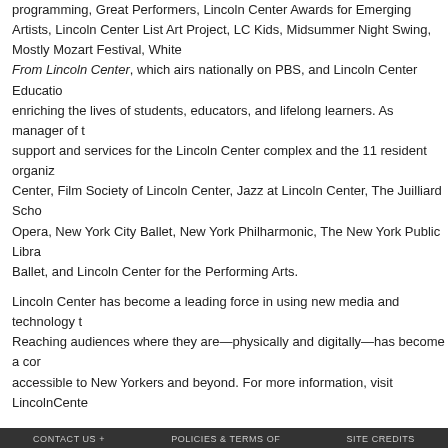programming, Great Performers, Lincoln Center Awards for Emerging Artists, Lincoln Center List Art Project, LC Kids, Midsummer Night Swing, Mostly Mozart Festival, White Light Festival, Live From Lincoln Center, which airs nationally on PBS, and Lincoln Center Education, dedicated to enriching the lives of students, educators, and lifelong learners. As manager of the campus, LC provides support and services for the Lincoln Center complex and the 11 resident organizations: Chamber Music Society of Lincoln Center, Film Society of Lincoln Center, Jazz at Lincoln Center, The Juilliard School, Lincoln Center Opera, New York City Ballet, New York Philharmonic, The New York Public Library for the Performing Arts, School of American Ballet, and Lincoln Center for the Performing Arts.
Lincoln Center has become a leading force in using new media and technology to make the arts accessible. Reaching audiences where they are—physically and digitally—has become a core part of making the arts accessible to New Yorkers and beyond. For more information, visit LincolnCenter.org.
Lincoln Center is committed to providing and improving accessibility for people with disabilities. Contact Accessibility at Lincoln Center at access@lincolncenter.org or 212.875.5375.
###
Press Contact:
Mary Caraccioli
mcaraccioli@lincolncenter.org
212.875.5101
CONTACT US +    POLICIES & TERMS OF    SITE CREDITS